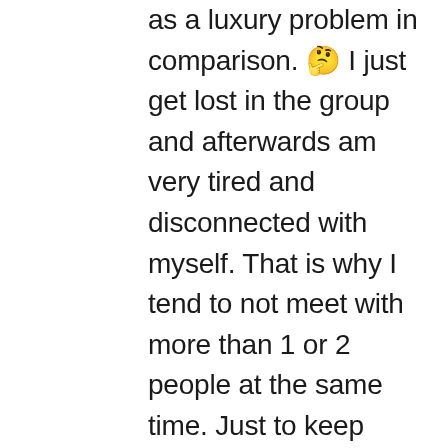as a luxury problem in comparison. 🤔 I just get lost in the group and afterwards am very tired and disconnected with myself. That is why I tend to not meet with more than 1 or 2 people at the same time. Just to keep close to myself. I need that because for me, wanting to be part of that group somehow reminds me of drinking. I sometimes feel that even while I drank water or tea all night, I am drunk. Not sure how that works. Hmmm, that would be a subject to think about.Not sure if you (still?) need it but I think I am speaking truth when I say you are one of the most loved bloggers in this sober community. Your kindness, your gentleness, your loving pressence is something I can